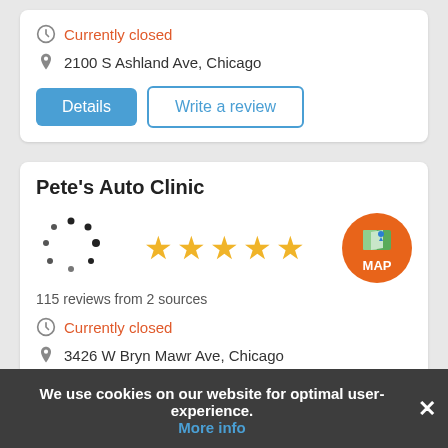Currently closed
2100 S Ashland Ave, Chicago
Details
Write a review
Pete's Auto Clinic
[Figure (other): Loading spinner dots animation placeholder]
[Figure (other): 4.5 star rating shown with 5 gold stars]
[Figure (other): Orange circular MAP badge with map icon]
115 reviews from 2 sources
Currently closed
3426 W Bryn Mawr Ave, Chicago
Details
Write a review
We use cookies on our website for optimal user-experience.
More info